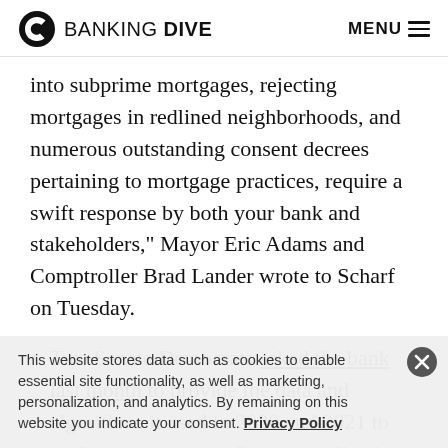BANKING DIVE  MENU
into subprime mortgages, rejecting mortgages in redlined neighborhoods, and numerous outstanding consent decrees pertaining to mortgage practices, require a swift response by both your bank and stakeholders," Mayor Eric Adams and Comptroller Brad Lander wrote to Scharf on Tuesday.
Two Senate Democrats asked the bank last month to provide the data and algorithms it used in 2020 and 2021 to evaluate mortgage refinance applications
This website stores data such as cookies to enable essential site functionality, as well as marketing, personalization, and analytics. By remaining on this website you indicate your consent. Privacy Policy